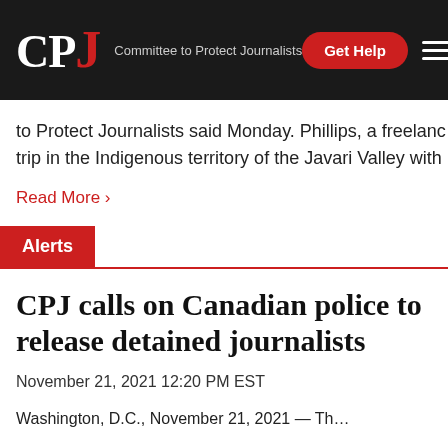CPJ — Committee to Protect Journalists
to Protect Journalists said Monday. Phillips, a freelan… trip in the Indigenous territory of the Javari Valley with…
Read More ›
Alerts
CPJ calls on Canadian police to release detained journalists
November 21, 2021 12:20 PM EST
Washington, D.C., November 21, 2021 — Th…